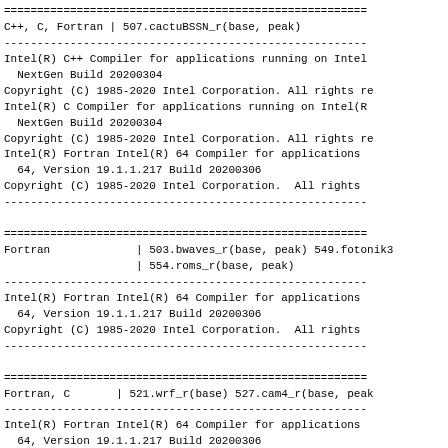====================================================
C++, C, Fortran | 507.cactuBSSN_r(base, peak)
----------------------------------------------------
Intel(R) C++ Compiler for applications running on Intel
  NextGen Build 20200304
Copyright (C) 1985-2020 Intel Corporation. All rights re
Intel(R) C Compiler for applications running on Intel(R
  NextGen Build 20200304
Copyright (C) 1985-2020 Intel Corporation. All rights re
Intel(R) Fortran Intel(R) 64 Compiler for applications
  64, Version 19.1.1.217 Build 20200306
Copyright (C) 1985-2020 Intel Corporation.  All rights
----------------------------------------------------

====================================================
Fortran             | 503.bwaves_r(base, peak) 549.fotonik3
                    | 554.roms_r(base, peak)
----------------------------------------------------
Intel(R) Fortran Intel(R) 64 Compiler for applications
  64, Version 19.1.1.217 Build 20200306
Copyright (C) 1985-2020 Intel Corporation.  All rights
----------------------------------------------------

====================================================
Fortran, C       | 521.wrf_r(base) 527.cam4_r(base, peak
----------------------------------------------------
Intel(R) Fortran Intel(R) 64 Compiler for applications
  64, Version 19.1.1.217 Build 20200306
Copyright (C) 1985-2020 Intel Corporation.  All rights